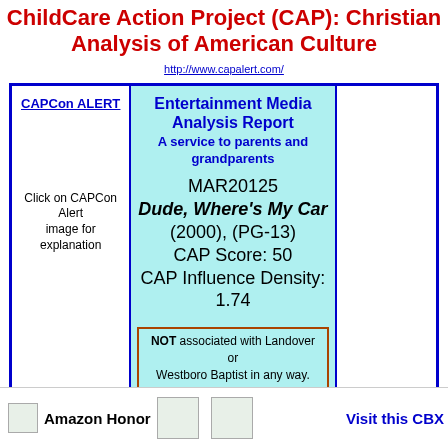ChildCare Action Project (CAP): Christian Analysis of American Culture
http://www.capalert.com/
| CAPCon ALERT | Entertainment Media Analysis Report |  |
| --- | --- | --- |
| CAPCon ALERT | Entertainment Media Analysis Report
A service to parents and grandparents
MAR20125
Dude, Where's My Car
(2000), (PG-13)
CAP Score: 50
CAP Influence Density: 1.74
NOT associated with Landover or Westboro Baptist in any way. |  |
| Click on CAPCon Alert image for explanation |  |  |
AD Space Available
Amazon Honor
Visit this CBX